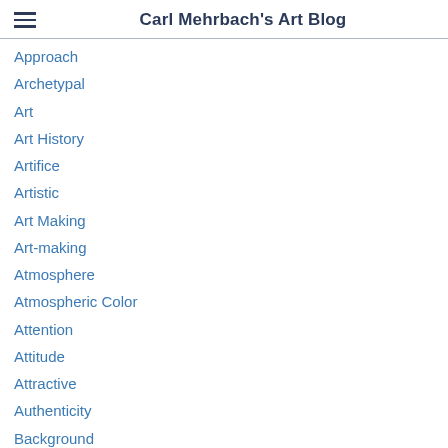Carl Mehrbach's Art Blog
Approach
Archetypal
Art
Art History
Artifice
Artistic
Art Making
Art-making
Atmosphere
Atmospheric Color
Attention
Attitude
Attractive
Authenticity
Background
Bad
Balance
Battleground